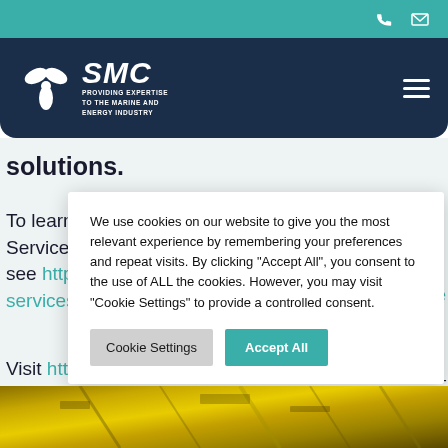SMC - PROVIDING EXPERTISE TO THE MARINE AND ENERGY INDUSTRY
solutions.
To learn more Services, see https://s services/
Visit https://w int to learn m
We use cookies on our website to give you the most relevant experience by remembering your preferences and repeat visits. By clicking "Accept All", you consent to the use of ALL the cookies. However, you may visit "Cookie Settings" to provide a controlled consent.
[Figure (photo): Yellow machinery or industrial equipment photo at the bottom of the page]